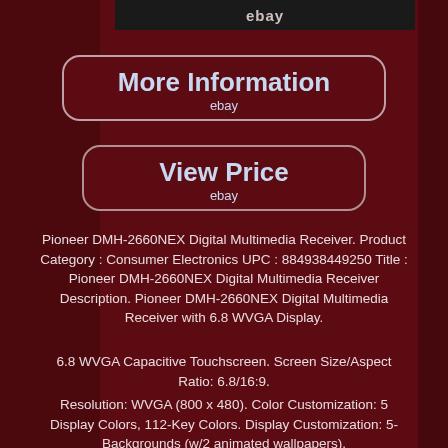[Figure (screenshot): eBay logo/header bar at top of page, dark background]
[Figure (screenshot): More Information button with eBay label, dark maroon rounded rectangle]
[Figure (screenshot): View Price button with eBay label, dark maroon rounded rectangle]
Pioneer DMH-2660NEX Digital Multimedia Receiver. Product Category : Consumer Electronics UPC : 884938449250 Title : Pioneer DMH-2660NEX Digital Multimedia Receiver Description. Pioneer DMH-2660NEX Digital Multimedia Receiver with 6.8 WVGA Display.
6.8 WVGA Capacitive Touchscreen. Screen Size/Aspect Ratio: 6.8/16:9.
Resolution: WVGA (800 x 480). Color Customization: 5 Display Colors, 112-Key Colors. Display Customization: 5-Backgrounds (w/2 animated wallpapers).